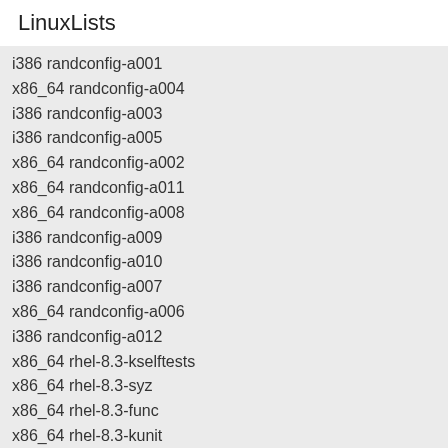LinuxLists
i386 randconfig-a001
x86_64 randconfig-a004
i386 randconfig-a003
i386 randconfig-a005
x86_64 randconfig-a002
x86_64 randconfig-a011
x86_64 randconfig-a008
i386 randconfig-a009
i386 randconfig-a010
i386 randconfig-a007
x86_64 randconfig-a006
i386 randconfig-a012
x86_64 rhel-8.3-kselftests
x86_64 rhel-8.3-syz
x86_64 rhel-8.3-func
x86_64 rhel-8.3-kunit